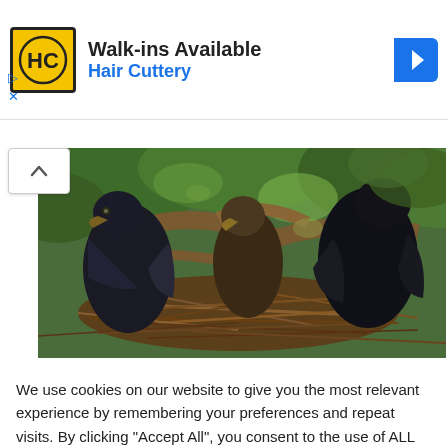[Figure (other): Hair Cuttery advertisement banner with HC logo, text 'Walk-ins Available' and 'Hair Cuttery', and a blue navigation arrow icon]
[Figure (photo): Photograph of young bald eagles (eaglets) in a large nest made of sticks, perched in a tree with green foliage in the background. Three dark-feathered juveniles are visible.]
We use cookies on our website to give you the most relevant experience by remembering your preferences and repeat visits. By clicking "Accept All", you consent to the use of ALL the cookies. However, you may visit "Cookie Settings" to provide a controlled consent.